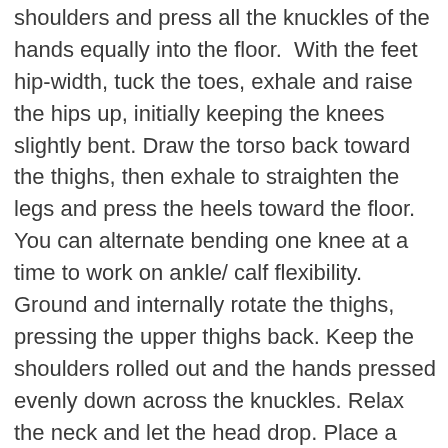shoulders and press all the knuckles of the hands equally into the floor.  With the feet hip-width, tuck the toes, exhale and raise the hips up, initially keeping the knees slightly bent. Draw the torso back toward the thighs, then exhale to straighten the legs and press the heels toward the floor. You can alternate bending one knee at a time to work on ankle/ calf flexibility. Ground and internally rotate the thighs, pressing the upper thighs back. Keep the shoulders rolled out and the hands pressed evenly down across the knuckles. Relax the neck and let the head drop. Place a block between the head and the floor.
Key actions:
Shoulders externally rotated.
Base of thumb and index finger pressed